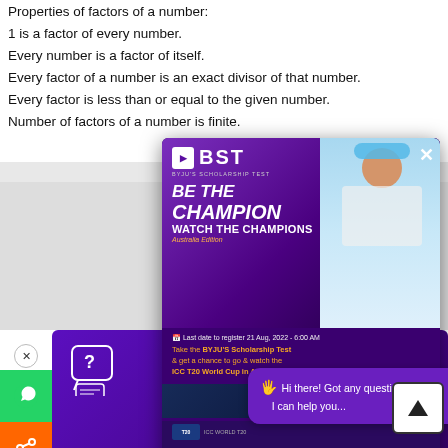Properties of factors of a number:
1 is a factor of every number.
Every number is a factor of itself.
Every factor of a number is an exact divisor of that number.
Every factor is less than or equal to the given number.
Number of factors of a number is finite.
[Figure (screenshot): BST (BYJU'S Scholarship Test) advertisement popup showing 'BE THE CHAMPION WATCH THE CHAMPIONS Australia Edition' with a girl wearing headphones, cricket players, registration deadline of 21 Aug 2022 6:00 AM, and a Register button]
[Figure (screenshot): Chat bubble saying 'Hi there! Got any questions? I can help you...' with wave emoji, and a scroll-up arrow button]
[Figure (screenshot): Left sidebar with WhatsApp (green), share (orange), and phone (orange) icons with X close button]
[Figure (screenshot): Bottom purple banner with BYJU'S promotional content, question mark chat icon, person with laptop illustration, and circular tutor avatar]